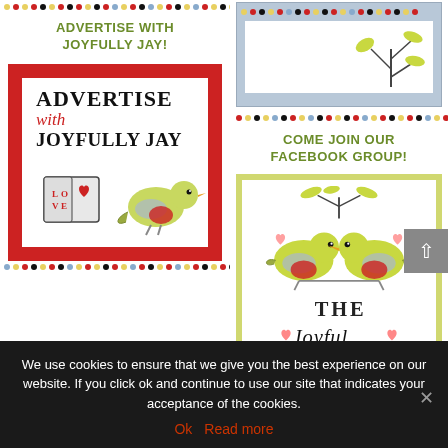[Figure (illustration): Colorful dotted divider row at top of left column]
ADVERTISE WITH JOYFULLY JAY!
[Figure (illustration): Advertisement banner with red border showing 'Advertise with JOYFULLY JAY' text with decorative birds and book illustration]
[Figure (illustration): Colorful dotted divider row at bottom of left column]
[Figure (illustration): Top card on right with gray/blue background and leaf illustration]
[Figure (illustration): Colorful dotted divider row on right side]
COME JOIN OUR FACEBOOK GROUP!
[Figure (illustration): Facebook group card with yellow-green border showing two birds facing each other under leaf branch with 'THE Joyful' text]
We use cookies to ensure that we give you the best experience on our website. If you click ok and continue to use our site that indicates your acceptance of the cookies.
Ok   Read more